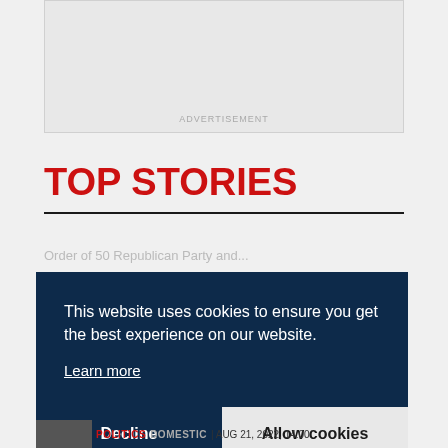[Figure (other): Advertisement placeholder box with light gray background]
ADVERTISEMENT
TOP STORIES
This website uses cookies to ensure you get the best experience on our website.
Learn more
Decline
Allow cookies
POLITICS DOMESTIC | AUG 21, 2022, 14:00